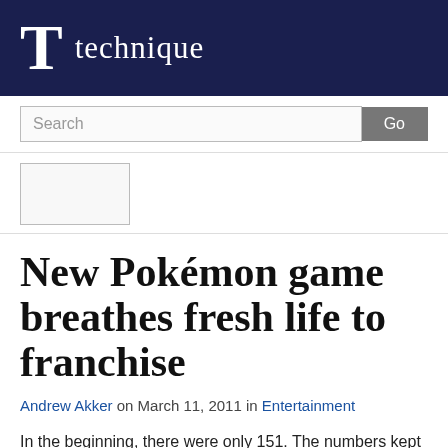T technique
Search Go
[Figure (other): Small advertisement or image placeholder box]
New Pokémon game breathes fresh life to franchise
Andrew Akker on March 11, 2011 in Entertainment
In the beginning, there were only 151. The numbers kept piling up through the generations. The various